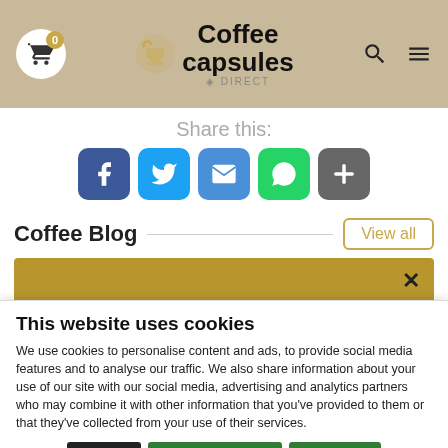Coffee Capsules Direct — website header with cart icon, logo, search and menu icons
Share this:
[Figure (infographic): Social sharing buttons: Facebook (blue), Twitter (light blue), Email (blue), WhatsApp (green), More (grey plus)]
Coffee Blog
View all
[Figure (screenshot): Gold/tan newsletter subscription bar with close X button and partial text 'Subscribe to our newsletter to get our...']
This website uses cookies
We use cookies to personalise content and ads, to provide social media features and to analyse our traffic. We also share information about your use of our site with our social media, advertising and analytics partners who may combine it with other information that you've provided to them or that they've collected from your use of their services.
Deny  Allow selection  Allow all
Necessary  Preferences  Statistics  Marketing  Show details